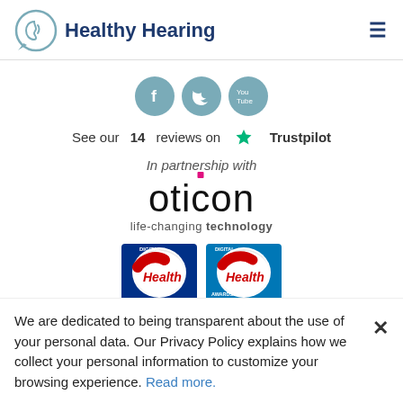Healthy Hearing
[Figure (logo): Social media icons: Facebook, Twitter, YouTube in teal circles]
See our 14 reviews on Trustpilot
In partnership with
[Figure (logo): Oticon logo with text 'life-changing technology']
[Figure (logo): Digital Health and Digital Health Awards badge logos]
We are dedicated to being transparent about the use of your personal data. Our Privacy Policy explains how we collect your personal information to customize your browsing experience. Read more.